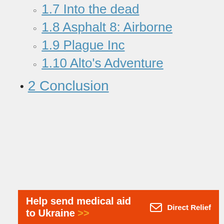1.7 Into the dead
1.8 Asphalt 8: Airborne
1.9 Plague Inc
1.10 Alto's Adventure
2 Conclusion
[Figure (other): Orange banner advertisement: 'Help send medical aid to Ukraine >>' with Direct Relief logo]